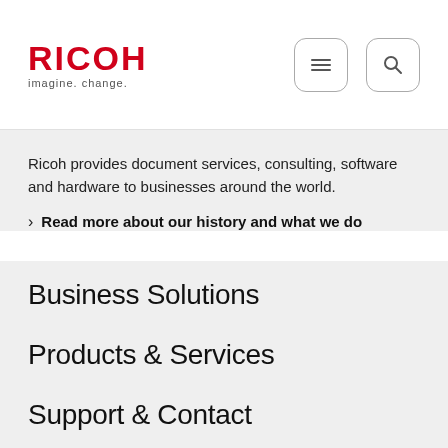[Figure (logo): RICOH logo with tagline 'imagine. change.' in red/grey]
Ricoh provides document services, consulting, software and hardware to businesses around the world.
> Read more about our history and what we do
Business Solutions
Products & Services
Support & Contact
Resources